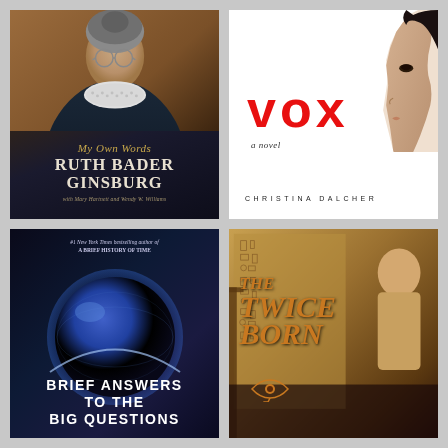[Figure (photo): Book cover: 'My Own Words' by Ruth Bader Ginsburg with Mary Hartnett and Wendy W. Williams. Shows a portrait of RBG in judicial robes with her signature lace collar.]
[Figure (photo): Book cover: 'VOX - a novel' by Christina Dalcher. White cover with large red lowercase VOX text and a side profile of a woman's face on the right.]
[Figure (photo): Book cover: 'Brief Answers to the Big Questions' by Stephen Hawking. Dark blue cover with a glowing planet/sphere, tagline referencing #1 New York Times bestselling author of A Brief History of Time.]
[Figure (photo): Book cover: 'The Twice Born'. Ancient Egyptian themed cover with cuneiform/hieroglyphic wall and a figure, showing a rusty brown/gold color palette with an eye of Horus symbol.]